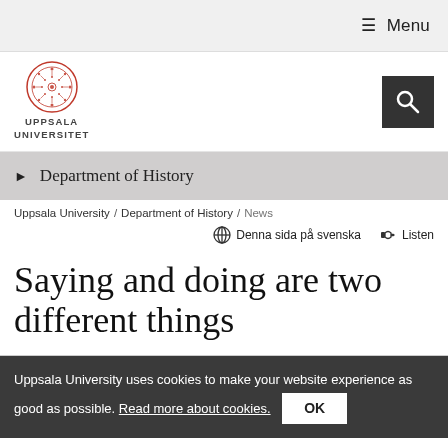≡ Menu
[Figure (logo): Uppsala Universitet logo — circular red seal above text reading UPPSALA UNIVERSITET]
[Figure (other): Search icon (magnifying glass) on dark background]
▶ Department of History
Uppsala University / Department of History / News
🌐 Denna sida på svenska  🎧 Listen
Saying and doing are two different things
Uppsala University uses cookies to make your website experience as good as possible. Read more about cookies.  OK